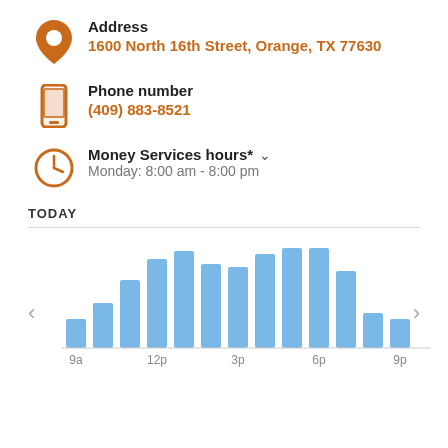Address
1600 North 16th Street, Orange, TX 77630
Phone number
(409) 883-8521
Money Services hours*
Monday: 8:00 am - 8:00 pm
TODAY
[Figure (bar-chart): TODAY]